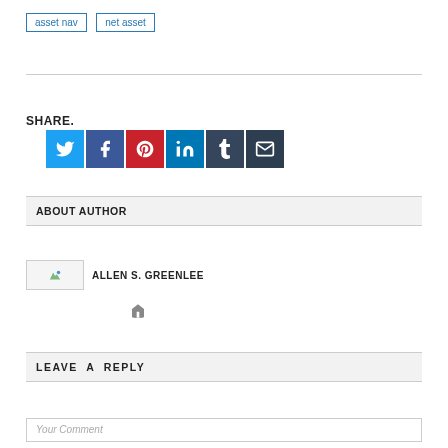asset nav
net asset
SHARE.
[Figure (infographic): Row of 6 social media share buttons: Twitter (blue), Facebook (dark blue), Pinterest (red), LinkedIn (teal), Tumblr (dark slate blue), Email (dark gray)]
ABOUT AUTHOR
[Figure (photo): Author photo placeholder image for Allen S. Greenlee]
ALLEN S. GREENLEE
[Figure (other): Home icon link]
LEAVE A REPLY
Your Comment